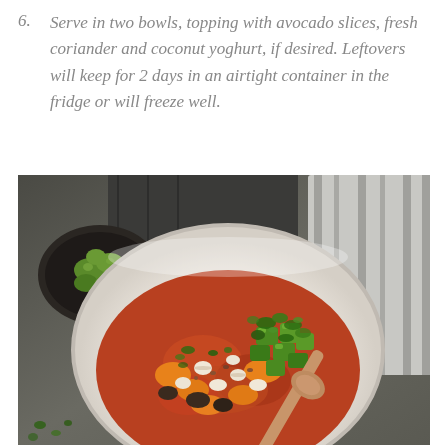6. Serve in two bowls, topping with avocado slices, fresh coriander and coconut yoghurt, if desired. Leftovers will keep for 2 days in an airtight container in the fridge or will freeze well.
[Figure (photo): Overhead photo of a white bowl filled with bean and vegetable chili topped with diced avocado, fresh coriander/cilantro herbs, and a wooden spoon. A small dark bowl with diced avocado is visible in the upper left. The background is a dark stone/slate surface with a grey striped cloth napkin.]